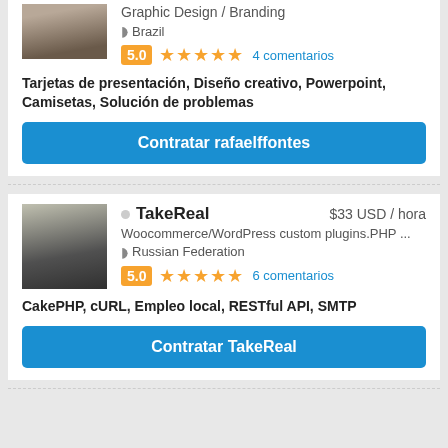[Figure (photo): Profile photo of rafaelffontes - partial view at top]
Graphic Design / Branding
Brazil
5.0 ★★★★★ 4 comentarios
Tarjetas de presentación, Diseño creativo, Powerpoint, Camisetas, Solución de problemas
Contratar rafaelffontes
[Figure (photo): Profile photo of TakeReal - man in black shirt]
TakeReal  $33 USD / hora
Woocommerce/WordPress custom plugins.PHP ...
Russian Federation
5.0 ★★★★★ 6 comentarios
CakePHP, cURL, Empleo local, RESTful API, SMTP
Contratar TakeReal